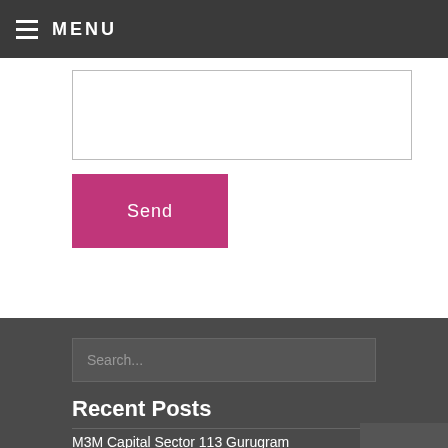MENU
Send
Search...
Recent Posts
M3M Capital Sector 113 Gurugram
ROF Insignia Park Sector 93 Gurugram
VTP Earth County Plots East Of Pune